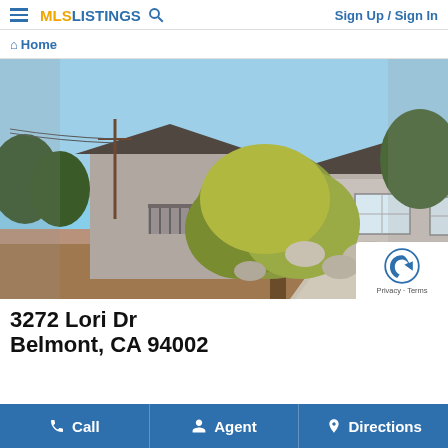MLS LISTINGS  Sign Up / Sign In
Home
[Figure (photo): Exterior photo of a single-story suburban house with gray stucco siding, dark tiled roof, large tree in front yard, and landscaped front with rocks and mulch. Blue sky background. Counter shows 1/1.]
3272 Lori Dr
Belmont, CA 94002
Call  Agent  Directions